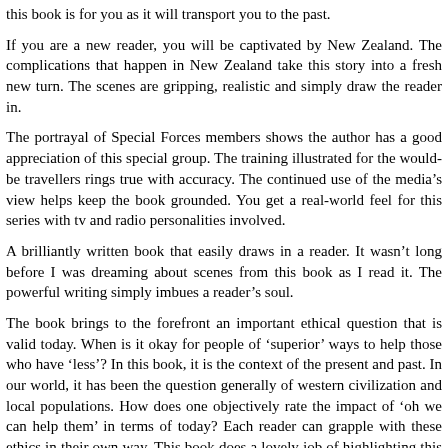this book is for you as it will transport you to the past.
If you are a new reader, you will be captivated by New Zealand. The complications that happen in New Zealand take this story into a fresh new turn. The scenes are gripping, realistic and simply draw the reader in.
The portrayal of Special Forces members shows the author has a good appreciation of this special group. The training illustrated for the would-be travellers rings true with accuracy. The continued use of the media’s view helps keep the book grounded. You get a real-world feel for this series with tv and radio personalities involved.
A brilliantly written book that easily draws in a reader. It wasn’t long before I was dreaming about scenes from this book as I read it. The powerful writing simply imbues a reader’s soul.
The book brings to the forefront an important ethical question that is valid today. When is it okay for people of ‘superior’ ways to help those who have ‘less’? In this book, it is the context of the present and past. In our world, it has been the question generally of western civilization and local populations. How does one objectively rate the impact of ‘oh we can help them’ in terms of today? Each reader can grapple with these ethics in their own way. This book does a lovely job of highlighting this contentious theme.